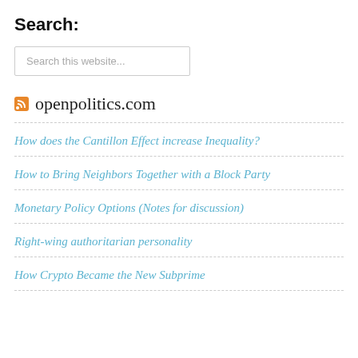Search:
Search this website...
openpolitics.com
How does the Cantillon Effect increase Inequality?
How to Bring Neighbors Together with a Block Party
Monetary Policy Options (Notes for discussion)
Right-wing authoritarian personality
How Crypto Became the New Subprime